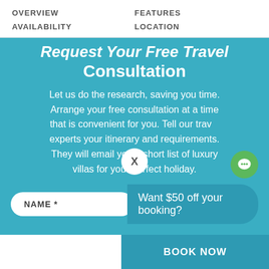OVERVIEW   FEATURES   AVAILABILITY   LOCATION
Request Your Free Travel Consultation
Let us do the research, saving you time. Arrange your free consultation at a time that is convenient for you. Tell our travel experts your itinerary and requirements. They will email you a short list of luxury villas for your perfect holiday.
Want $50 off your booking?
BOOK NOW